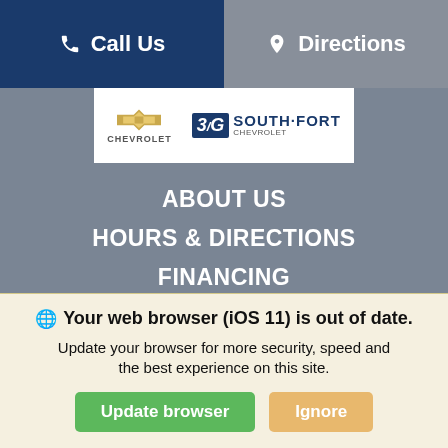Call Us | Directions
[Figure (logo): Chevrolet bowtie logo and South Fort Chevrolet dealership logo on white background]
ABOUT US
HOURS & DIRECTIONS
FINANCING
INVENTORY
New Vehicles
Pre-Owned
New Specials
Pre-Owned Specials
Specials
SERVICE & PARTS
Your web browser (iOS 11) is out of date. Update your browser for more security, speed and the best experience on this site.
Update browser | Ignore